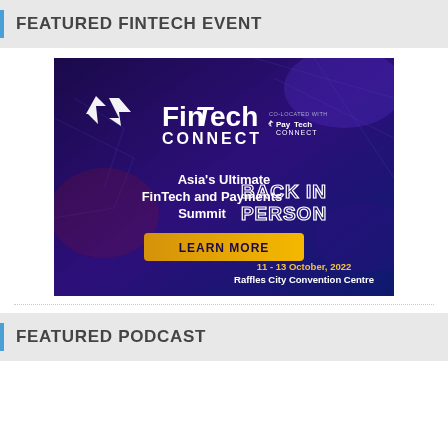FEATURED FINTECH EVENT
[Figure (illustration): FinTech Connect event advertisement banner with dark purple/blue background. Shows FinTech Connect logo co-located with PayTech Connect, text: Asia's Ultimate FinTech and Payments Summit BACK IN PERSON, yellow button: LEARN MORE, date: 11 - 13 October, 2022, Raffles City Convention Centre]
FEATURED PODCAST